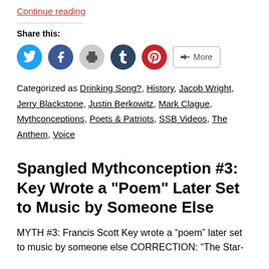Continue reading
Share this:
[Figure (infographic): Social share buttons: Twitter (blue circle), Facebook (blue circle), Print (gray circle), Tumblr (dark blue circle), Pinterest (red circle), More button (outlined pill)]
Categorized as Drinking Song?, History, Jacob Wright, Jerry Blackstone, Justin Berkowitz, Mark Clague, Mythconceptions, Poets & Patriots, SSB Videos, The Anthem, Voice
Spangled Mythconception #3: Key Wrote a "Poem" Later Set to Music by Someone Else
MYTH #3: Francis Scott Key wrote a “poem” later set to music by someone else CORRECTION: “The Star-